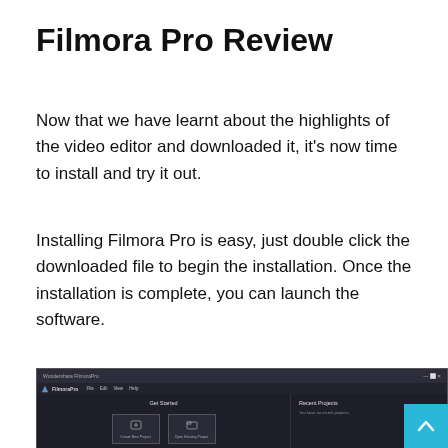Filmora Pro Review
Now that we have learnt about the highlights of the video editor and downloaded it, it's now time to install and try it out.
Installing Filmora Pro is easy, just double click the downloaded file to begin the installation. Once the installation is complete, you can launch the software.
[Figure (screenshot): Screenshot of FilmoraPro application launch screen showing 'Get Started' section with 'Create New Project' and 'Open Existing Project' buttons, and a 'Recent Projects' panel on the right showing 'You have no recent projects'.]